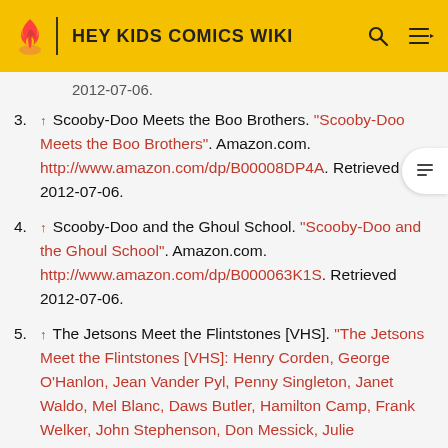HEY KIDS COMICS WIKI
↑ Scooby-Doo Meets the Boo Brothers. "Scooby-Doo Meets the Boo Brothers". Amazon.com. http://www.amazon.com/dp/B00008DP4A. Retrieved 2012-07-06.
↑ Scooby-Doo and the Ghoul School. "Scooby-Doo and the Ghoul School". Amazon.com. http://www.amazon.com/dp/B000063K1S. Retrieved 2012-07-06.
↑ The Jetsons Meet the Flintstones [VHS]. "The Jetsons Meet the Flintstones [VHS]: Henry Corden, George O'Hanlon, Jean Vander Pyl, Penny Singleton, Janet Waldo, Mel Blanc, Daws Butler, Hamilton Camp, Frank Welker, John Stephenson, Don Messick, Julie